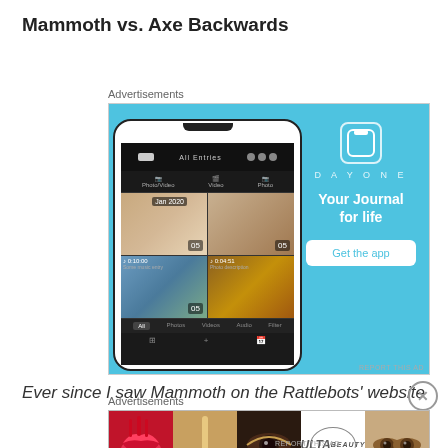Mammoth vs. Axe Backwards
Advertisements
[Figure (screenshot): DayOne journal app advertisement showing a smartphone with photo journal interface on the left and DayOne branding with 'Your Journal for life' tagline and 'Get the app' button on blue background on the right]
Ever since I saw Mammoth on the Rattlebots' website
Advertisements
[Figure (screenshot): Ulta Beauty advertisement banner showing cosmetic product images including lips, makeup brush, eye, Ulta logo, eyes, and 'SHOP NOW' text]